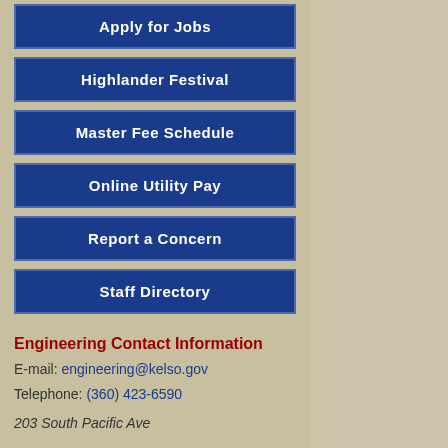Apply for Jobs
Highlander Festival
Master Fee Schedule
Online Utility Pay
Report a Concern
Staff Directory
Engineering Contact Information
E-mail: engineering@kelso.gov
Telephone: (360) 423-6590
203 South Pacific Ave